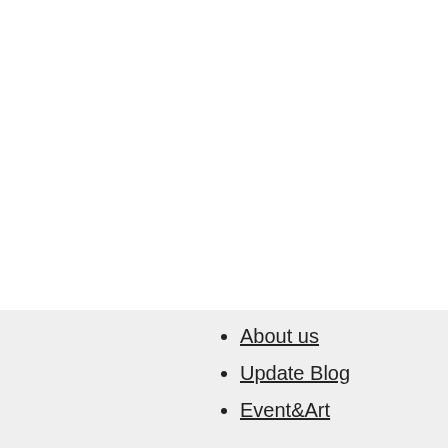About us
Update Blog
Event&Art